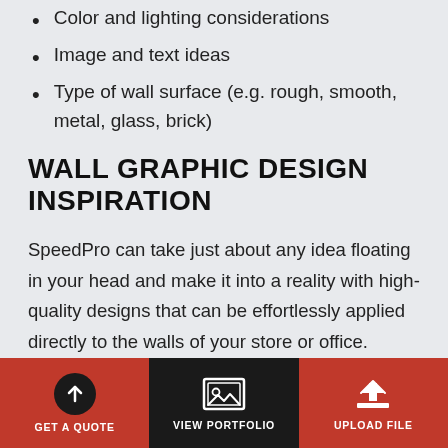Color and lighting considerations
Image and text ideas
Type of wall surface (e.g. rough, smooth, metal, glass, brick)
WALL GRAPHIC DESIGN INSPIRATION
SpeedPro can take just about any idea floating in your head and make it into a reality with high-quality designs that can be effortlessly applied directly to the walls of your store or office. Every wall graphic will be crafted according to your exact specifications for lasting beauty and personality. A few wall graphic ideas we can help you with
GET A QUOTE | VIEW PORTFOLIO | UPLOAD FILE